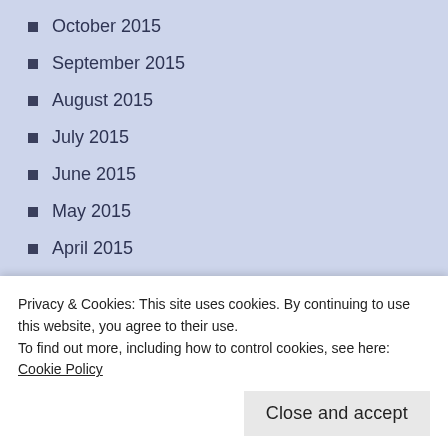October 2015
September 2015
August 2015
July 2015
June 2015
May 2015
April 2015
March 2015
February 2015
January 2015
December 2014
Privacy & Cookies: This site uses cookies. By continuing to use this website, you agree to their use.
To find out more, including how to control cookies, see here: Cookie Policy
Close and accept